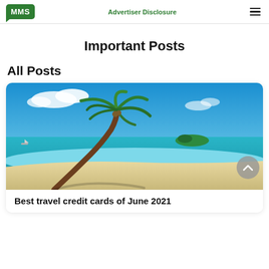MMS | Advertiser Disclosure
Important Posts
All Posts
[Figure (photo): Tropical beach scene with a leaning palm tree, white sand, turquoise water, and a small island in the background under a blue sky with clouds.]
Best travel credit cards of June 2021